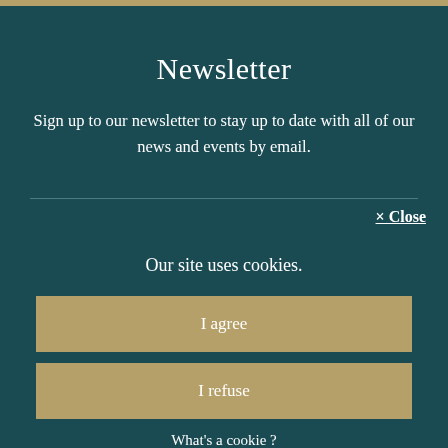Newsletter
Sign up to our newsletter to stay up to date with all of our news and events by email.
× Close
Our site uses cookies.
I agree
I refuse
What's a cookie ?